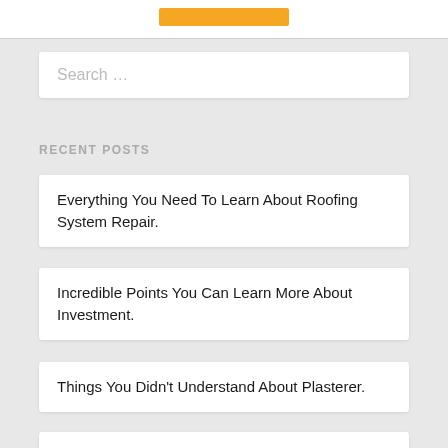[Figure (other): Orange/amber colored bar or button element at top of page]
Search …
RECENT POSTS
Everything You Need To Learn About Roofing System Repair.
Incredible Points You Can Learn More About Investment.
Things You Didn't Understand About Plasterer.
Tiny But Important Things To Observe In…